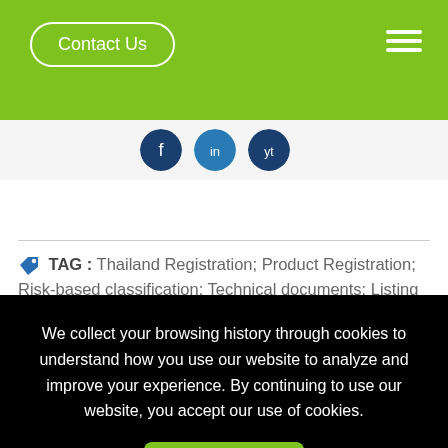Contact Us
[Figure (illustration): Three social media icons (dark blue circles) partially visible]
TAG : Thailand Registration; Product Registration; Risk-based classification; Technical documents; Listing MD Registration; Listing MD Change Notification; Listing MD
We collect your browsing history through cookies to understand how you use our website to analyze and improve your experience. By continuing to use our website, you accept our use of cookies.
Agree